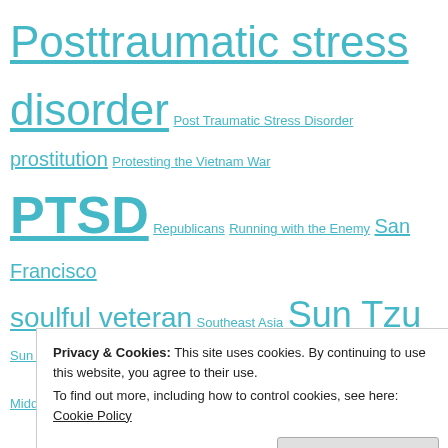Posttraumatic stress disorder Post Traumatic Stress Disorder prostitution Protesting the Vietnam War PTSD Republicans Running with the Enemy San Francisco soulful veteran Southeast Asia Sun Tzu Sun Tzu's The Art of War The Art of War the cost of war The Institute for Middle Eastern Democracy The Iraq War The Vietnam War The war in Afghanistan United States United States Department of Veterans Affairs United States Marine Corps United States Marines US Marine US Marines in combat veteran veterans Viet Cong Vietcong Vietnam Vietnam
Privacy & Cookies: This site uses cookies. By continuing to use this website, you agree to their use.
To find out more, including how to control cookies, see here: Cookie Policy
Close and accept